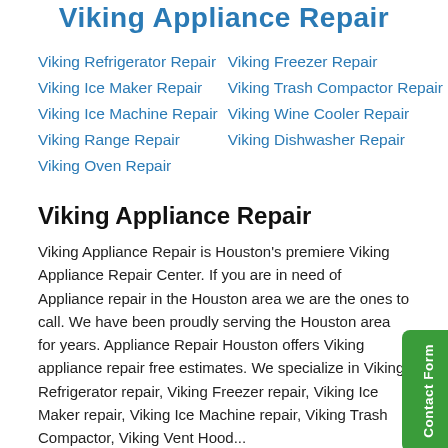Viking Appliance Repair
Viking Refrigerator Repair
Viking Freezer Repair
Viking Ice Maker Repair
Viking Trash Compactor Repair
Viking Ice Machine Repair
Viking Wine Cooler Repair
Viking Range Repair
Viking Dishwasher Repair
Viking Oven Repair
Viking Appliance Repair
Viking Appliance Repair is Houston's premiere Viking Appliance Repair Center. If you are in need of Appliance repair in the Houston area we are the ones to call. We have been proudly serving the Houston area for years. Appliance Repair Houston offers Viking appliance repair free estimates. We specialize in Viking Refrigerator repair, Viking Freezer repair, Viking Ice Maker repair, Viking Ice Machine repair, Viking Trash Compactor, Viking Vent Hood...